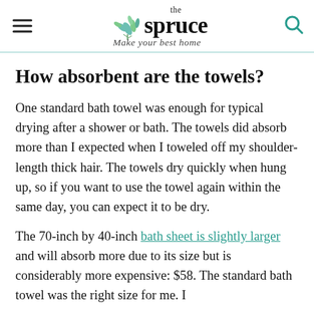the spruce — Make your best home
How absorbent are the towels?
One standard bath towel was enough for typical drying after a shower or bath. The towels did absorb more than I expected when I toweled off my shoulder-length thick hair. The towels dry quickly when hung up, so if you want to use the towel again within the same day, you can expect it to be dry.
The 70-inch by 40-inch bath sheet is slightly larger and will absorb more due to its size but is considerably more expensive: $58. The standard bath towel was the right size for me. I